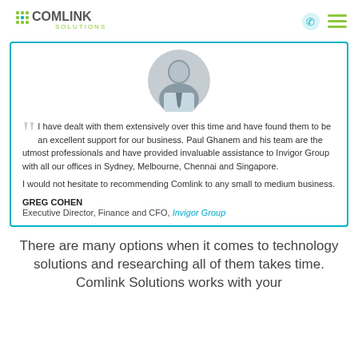COMLINK SOLUTIONS
[Figure (photo): Circular avatar photo of Greg Cohen, a middle-aged man in a light blue shirt and tie, smiling.]
I have dealt with them extensively over this time and have found them to be an excellent support for our business. Paul Ghanem and his team are the utmost professionals and have provided invaluable assistance to Invigor Group with all our offices in Sydney, Melbourne, Chennai and Singapore.

I would not hesitate to recommending Comlink to any small to medium business.
GREG COHEN
Executive Director, Finance and CFO, Invigor Group
There are many options when it comes to technology solutions and researching all of them takes time. Comlink Solutions works with your